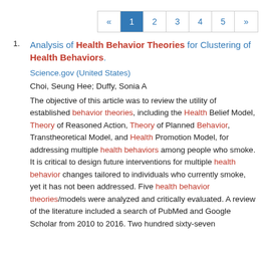« 1 2 3 4 5 »
1. Analysis of Health Behavior Theories for Clustering of Health Behaviors.
Science.gov (United States)
Choi, Seung Hee; Duffy, Sonia A
The objective of this article was to review the utility of established behavior theories, including the Health Belief Model, Theory of Reasoned Action, Theory of Planned Behavior, Transtheoretical Model, and Health Promotion Model, for addressing multiple health behaviors among people who smoke. It is critical to design future interventions for multiple health behavior changes tailored to individuals who currently smoke, yet it has not been addressed. Five health behavior theories/models were analyzed and critically evaluated. A review of the literature included a search of PubMed and Google Scholar from 2010 to 2016. Two hundred sixty-seven